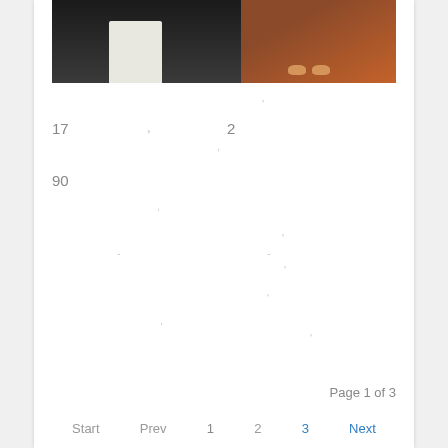[Figure (photo): Partial photo showing people's lower bodies — one person in white pants, another in dark clothing, and bare feet on an orange/red surface on the right side.]
17 , 2
90
- -
Page 1 of 3
Start  Prev  1  2  3  Next